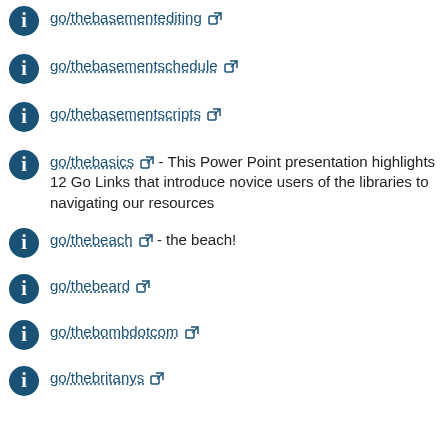go/thebasementediting
go/thebasementschedule
go/thebasementscripts
go/thebasics - This Power Point presentation highlights 12 Go Links that introduce novice users of the libraries to navigating our resources
go/thebeach - the beach!
go/thebeard
go/thebombdotcom
go/thebritanys